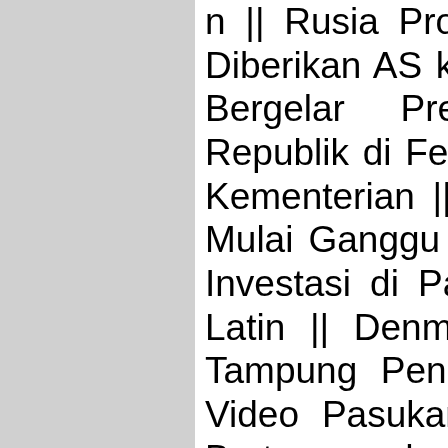n || Rusia Protes Helikopter Afghanistan Diberikan AS ke Ukraina || Meski tak Lagi Bergelar Presiden, Kepala Daerah Republik di Federasi Rusia Masih Bawahi Kementerian || Selain di Afrika, Tiongkok Mulai Ganggu Kepentingan Barat dengan Investasi di Pasifik, Karibia dan Amerika Latin || Denmark Bangun Kota Khusus Tampung Pengungsi Ukraina || Beredar Video Pasukan Rusia Mengeluh karena Bertempur dengan Senjata Buatan Tahun 1940-an || Apa Itu Extended Troika atau Troika Plus dalam Isu Afghanistan? || Rusia Dilaporkan akan Dirikan Pemerintahan Tandingan Ukraina dengan Ibukota Kherson Lawan Kyiv || Pasukan Ukraina Rebut Kembali Wilayah dari Rusia Berkat Bantuan Ribuan Drone Kecil || Eropa Semakin Terbelah, Zelenskyy Bersitegang dengan PM Hungaria || Meski Kena Sanksi Terkait Invasi Ukraina, India Berani Beli Minyak dari Rusia dengan Harga Diskon || India Ngaku tak Sengaja Tembakkan Rudal ke Pakistan || Elon Musk Ternyata Miliarder yang Hidup Sederhana || Perang Rusia-Ukraina Mulai Makan Korban Wartawan || Mantan Menhan Georgia Irakly Okruashvili Ikut Jadi Relawan